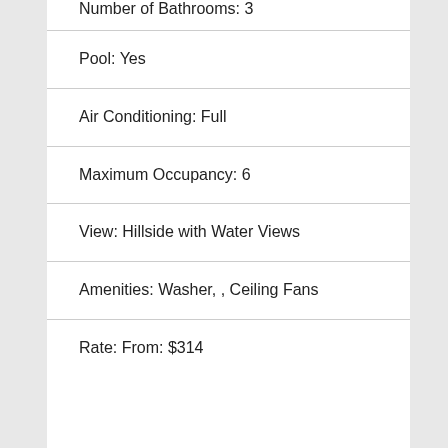Number of Bathrooms: 3
Pool: Yes
Air Conditioning: Full
Maximum Occupancy: 6
View: Hillside with Water Views
Amenities: Washer, , Ceiling Fans
Rate: From: $314